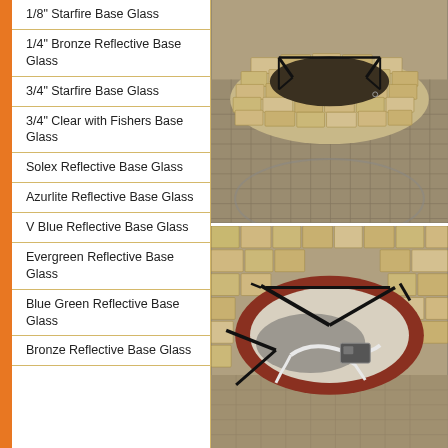1/8" Starfire Base Glass
1/4" Bronze Reflective Base Glass
3/4" Starfire Base Glass
3/4" Clear with Fishers Base Glass
Solex Reflective Base Glass
Azurlite Reflective Base Glass
V Blue Reflective Base Glass
Evergreen Reflective Base Glass
Blue Green Reflective Base Glass
Bronze Reflective Base Glass
[Figure (photo): Top view of a circular stone fire pit made of tan/beige stacked stone blocks, sitting on a cobblestone patio. Black metal brackets are visible at the top rim.]
[Figure (photo): Interior view of a circular stone fire pit showing a dark red/brown metal bowl insert with black metal burner brackets and white gas line tubing/igniter components inside.]